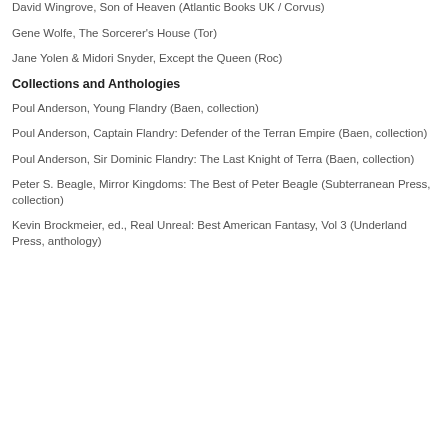David Wingrove, Son of Heaven (Atlantic Books UK / Corvus)
Gene Wolfe, The Sorcerer's House (Tor)
Jane Yolen & Midori Snyder, Except the Queen (Roc)
Collections and Anthologies
Poul Anderson, Young Flandry (Baen, collection)
Poul Anderson, Captain Flandry: Defender of the Terran Empire (Baen, collection)
Poul Anderson, Sir Dominic Flandry: The Last Knight of Terra (Baen, collection)
Peter S. Beagle, Mirror Kingdoms: The Best of Peter Beagle (Subterranean Press, collection)
Kevin Brockmeier, ed., Real Unreal: Best American Fantasy, Vol 3 (Underland Press, anthology)